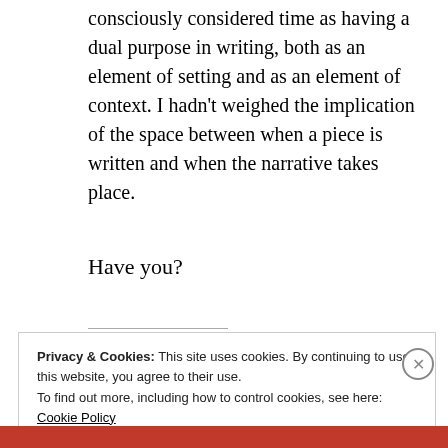consciously considered time as having a dual purpose in writing, both as an element of setting and as an element of context. I hadn’t weighed the implication of the space between when a piece is written and when the narrative takes place.
Have you?
Privacy & Cookies: This site uses cookies. By continuing to use this website, you agree to their use. To find out more, including how to control cookies, see here: Cookie Policy
Close and accept